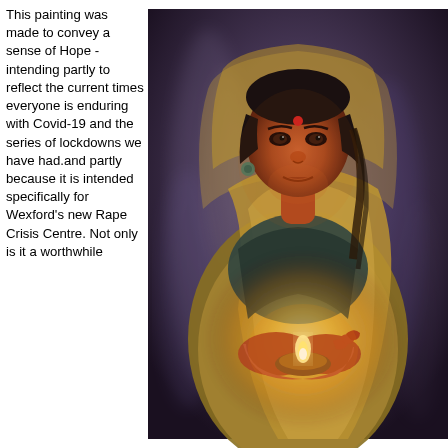This painting was made to convey a sense of Hope - intending partly to reflect the current times everyone is enduring with Covid-19 and the series of lockdowns we have had.and partly because it is intended specifically for Wexford's new Rape Crisis Centre. Not only is it a worthwhile
[Figure (illustration): A painting of a woman in a sari holding a lit candle/diya, with a red bindi on her forehead, set against a dark smoky background. The warm candlelight illuminates her face and hands. The style is realistic oil painting.]